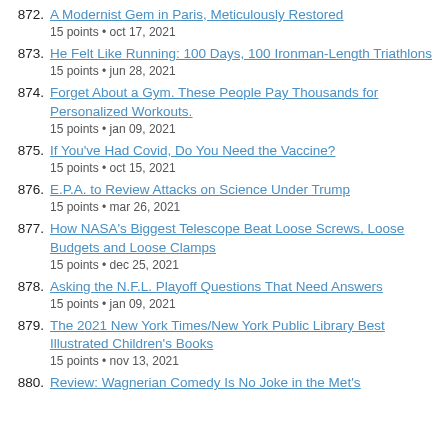872. A Modernist Gem in Paris, Meticulously Restored
15 points • oct 17, 2021
873. He Felt Like Running: 100 Days, 100 Ironman-Length Triathlons
15 points • jun 28, 2021
874. Forget About a Gym. These People Pay Thousands for Personalized Workouts.
15 points • jan 09, 2021
875. If You've Had Covid, Do You Need the Vaccine?
15 points • oct 15, 2021
876. E.P.A. to Review Attacks on Science Under Trump
15 points • mar 26, 2021
877. How NASA's Biggest Telescope Beat Loose Screws, Loose Budgets and Loose Clamps
15 points • dec 25, 2021
878. Asking the N.F.L. Playoff Questions That Need Answers
15 points • jan 09, 2021
879. The 2021 New York Times/New York Public Library Best Illustrated Children's Books
15 points • nov 13, 2021
880. Review: Wagnerian Comedy Is No Joke in the Met's